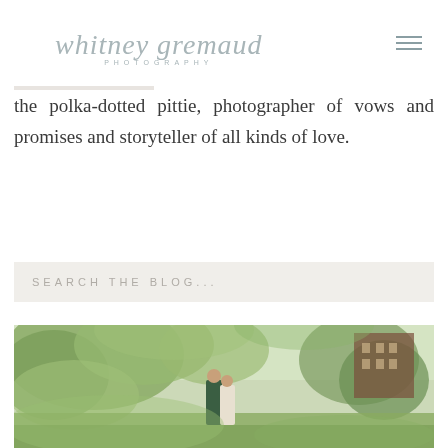whitney gremaud PHOTOGRAPHY
the polka-dotted pittie, photographer of vows and promises and storyteller of all kinds of love.
SEARCH THE BLOG...
[Figure (photo): Outdoor wedding or engagement photo showing a couple in a garden setting with trees and a brick building in the background]